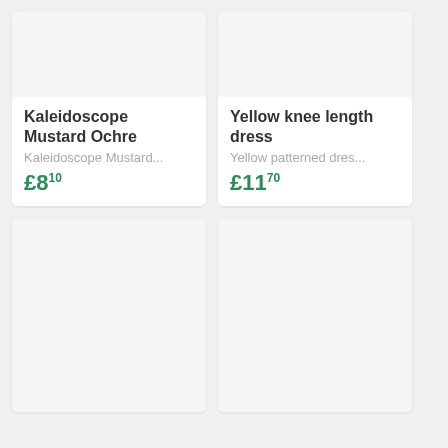[Figure (photo): Product image placeholder — light gray background for Kaleidoscope Mustard Ochre item]
Kaleidoscope Mustard Ochre
Kaleidoscope Mustard...
£8.10
[Figure (photo): Product image placeholder — light gray background for Yellow knee length dress]
Yellow knee length dress
Yellow patterned dres...
£11.70
[Figure (photo): Product image placeholder — light gray background, bottom-left card, partially visible]
[Figure (photo): Product image placeholder — light gray background, bottom-right card, partially visible]